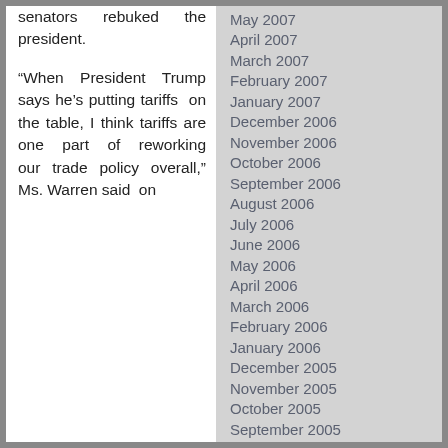senators rebuked the president.
“When President Trump says he’s putting tariffs on the table, I think tariffs are one part of reworking our trade policy overall,” Ms. Warren said on
May 2007
April 2007
March 2007
February 2007
January 2007
December 2006
November 2006
October 2006
September 2006
August 2006
July 2006
June 2006
May 2006
April 2006
March 2006
February 2006
January 2006
December 2005
November 2005
October 2005
September 2005